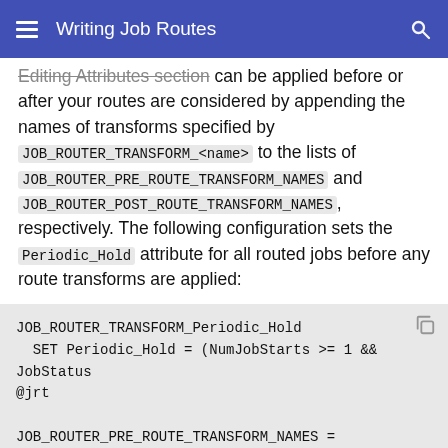Writing Job Routes
Editing Attributes section can be applied before or after your routes are considered by appending the names of transforms specified by JOB_ROUTER_TRANSFORM_<name> to the lists of JOB_ROUTER_PRE_ROUTE_TRANSFORM_NAMES and JOB_ROUTER_POST_ROUTE_TRANSFORM_NAMES, respectively. The following configuration sets the Periodic_Hold attribute for all routed jobs before any route transforms are applied:
[Figure (screenshot): Code block showing: JOB_ROUTER_TRANSFORM_Periodic_Hold
  SET Periodic_Hold = (NumJobStarts >= 1 && JobStatus
@jrt

JOB_ROUTER_PRE_ROUTE_TRANSFORM_NAMES = $(JOB_ROUTER_PR]
To apply the same transform after your pre-route and route transforms, append the name of the transform to JOB_ROUTER_POST_ROUTE_TRANSFORM_NAMES instead: